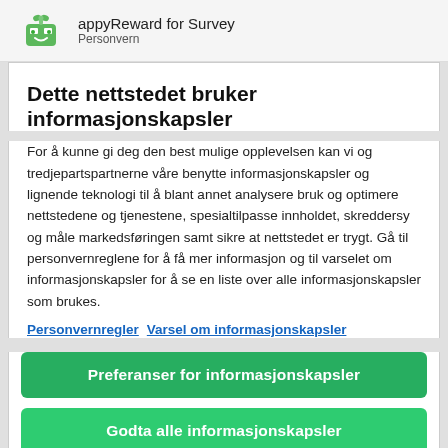appyReward for Survey
Dette nettstedet bruker informasjonskapsler
For å kunne gi deg den best mulige opplevelsen kan vi og tredjepartspartnerne våre benytte informasjonskapsler og lignende teknologi til å blant annet analysere bruk og optimere nettstedene og tjenestene, spesialtilpasse innholdet, skreddersy og måle markedsføringen samt sikre at nettstedet er trygt. Gå til personvernreglene for å få mer informasjon og til varselet om informasjonskapsler for å se en liste over alle informasjonskapsler som brukes.
Personvernregler  Varsel om informasjonskapsler
Preferanser for informasjonskapsler
Godta alle informasjonskapsler